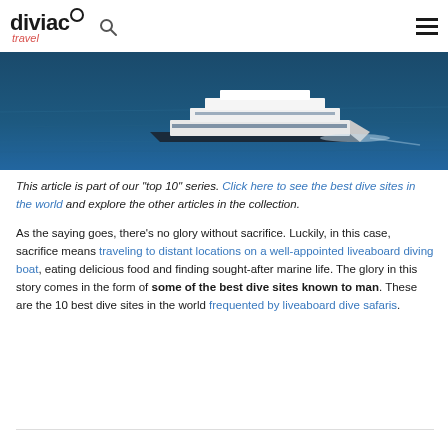diviac travel
[Figure (photo): A large white luxury liveaboard diving vessel sailing on deep blue ocean water, viewed from above at an angle.]
This article is part of our "top 10" series. Click here to see the best dive sites in the world and explore the other articles in the collection.
As the saying goes, there's no glory without sacrifice. Luckily, in this case, sacrifice means traveling to distant locations on a well-appointed liveaboard diving boat, eating delicious food and finding sought-after marine life. The glory in this story comes in the form of some of the best dive sites known to man. These are the 10 best dive sites in the world frequented by liveaboard dive safaris.